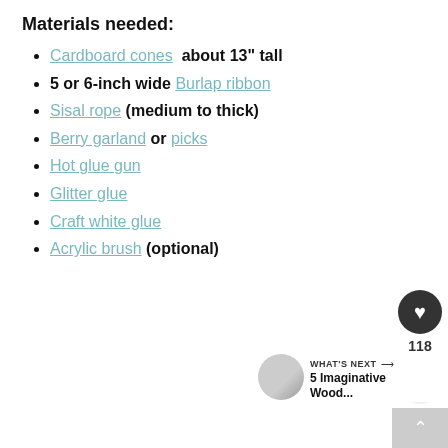Materials needed:
Cardboard cones  about 13" tall
5 or 6-inch wide Burlap ribbon
Sisal rope (medium to thick)
Berry garland or picks
Hot glue gun
Glitter glue
Craft white glue
Acrylic brush (optional)